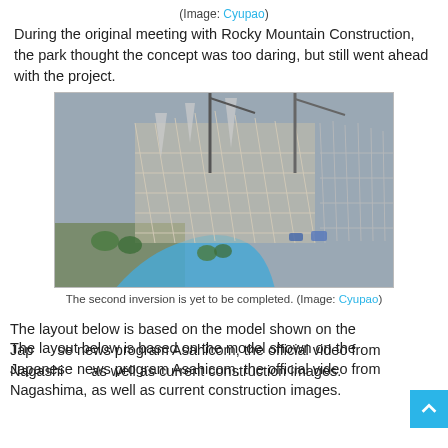(Image: Cyupao)
During the original meeting with Rocky Mountain Construction, the park thought the concept was too daring, but still went ahead with the project.
[Figure (photo): Aerial view of a wooden roller coaster under construction with cranes visible, blue pathways visible below the white wooden structure framework.]
The second inversion is yet to be completed. (Image: Cyupao)
The layout below is based on the model shown on the Japanese news program Asahicom, the official video from Nagashima, as well as current construction images.